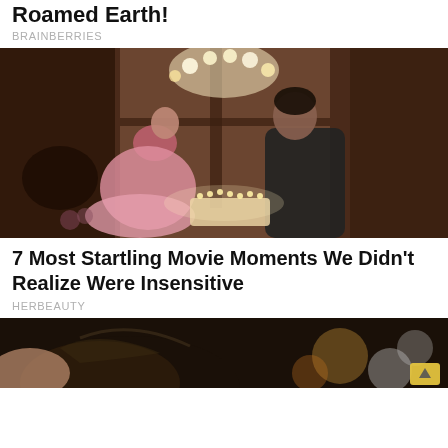Roamed Earth!
BRAINBERRIES
[Figure (photo): Movie still: a young woman in a pink dress and a young man facing each other over a birthday cake with lit candles, in a warmly lit room with a chandelier overhead.]
7 Most Startling Movie Moments We Didn't Realize Were Insensitive
HERBEAUTY
[Figure (photo): Partial photo showing the top of a person's dark hair, cropped at the bottom of the page, with blurred background lights. A scroll-up arrow icon is visible in the lower right corner.]